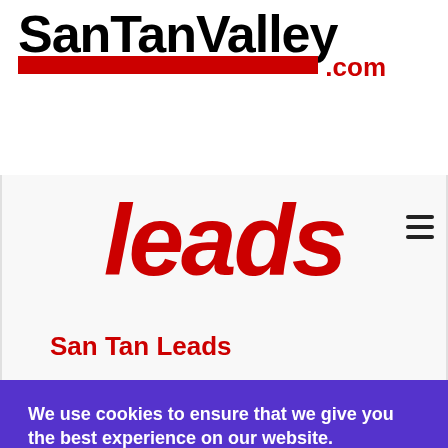[Figure (logo): SanTanValley.com logo — bold black sans-serif text 'SanTanValley' with a red horizontal bar and red '.com' text]
[Figure (logo): San Tan Leads logo — large italic red text reading 'leads' on a light grey background, with a hamburger menu icon top right]
San Tan Leads
We use cookies to ensure that we give you the best experience on our website.
I accept